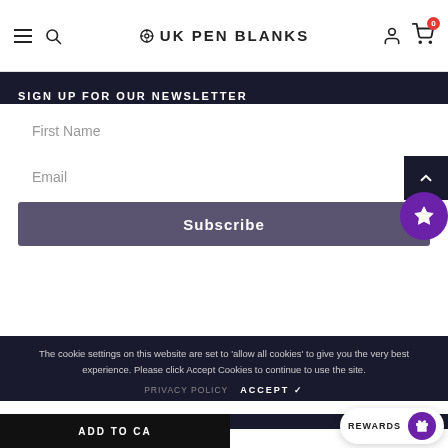UK PEN BLANKS
SIGN UP FOR OUR NEWSLETTER
First Name
Email
Subscribe
The cookie settings on this website are set to 'allow all cookies' to give you the very best experience. Please click Accept Cookies to continue to use the site.
PRIVACY POLICY   ACCEPT ✓
© 2022 UK Pen Blanks
ADD TO CA...
REWARDS